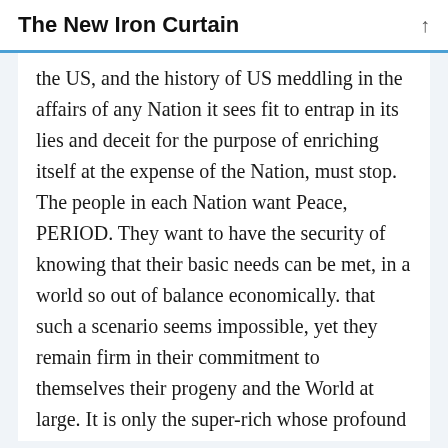The New Iron Curtain
the US, and the history of US meddling in the affairs of any Nation it sees fit to entrap in its lies and deceit for the purpose of enriching itself at the expense of the Nation, must stop. The people in each Nation want Peace, PERIOD. They want to have the security of knowing that their basic needs can be met, in a world so out of balance economically. that such a scenario seems impossible, yet they remain firm in their commitment to themselves their progeny and the World at large. It is only the super-rich whose profound ignorance is causing such an imbalance. They must be